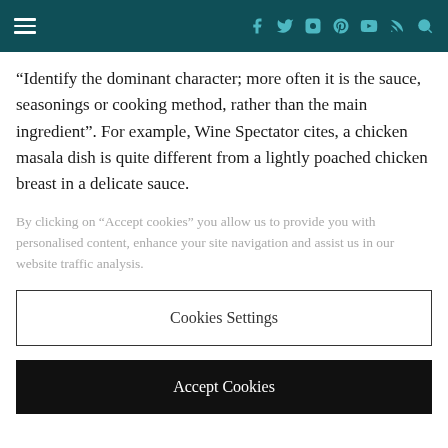Navigation header with hamburger menu and social icons
“Identify the dominant character; more often it is the sauce, seasonings or cooking method, rather than the main ingredient”. For example, Wine Spectator cites, a chicken masala dish is quite different from a lightly poached chicken breast in a delicate sauce.
By clicking on “Accept cookies” you allow us to provide you with personalised content, enhance your site navigation and assist us in our website traffic analysis.